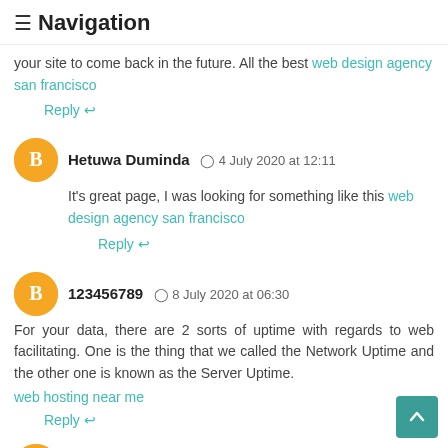≡ Navigation
your site to come back in the future. All the best web design agency san francisco
Reply ↩
Hetuwa Duminda  🕐 4 July 2020 at 12:11
It's great page, I was looking for something like this web design agency san francisco
Reply ↩
123456789  🕐 8 July 2020 at 06:30
For your data, there are 2 sorts of uptime with regards to web facilitating. One is the thing that we called the Network Uptime and the other one is known as the Server Uptime.
web hosting near me
Reply ↩
keivi jhons  🕐 9 July 2020 at 03:18